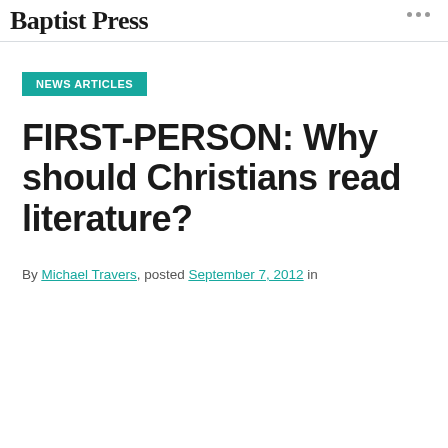Baptist Press
NEWS ARTICLES
FIRST-PERSON: Why should Christians read literature?
By Michael Travers, posted September 7, 2012 in